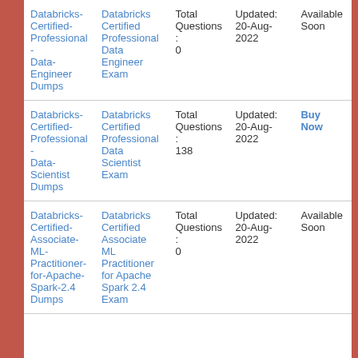| Exam Dumps | Exam Name | Questions | Updated | Status |
| --- | --- | --- | --- | --- |
| Databricks-Certified-Professional-Data-Engineer Dumps | Databricks Certified Professional Data Engineer Exam | Total Questions: 0 | Updated: 20-Aug-2022 | Available Soon |
| Databricks-Certified-Professional-Data-Scientist Dumps | Databricks Certified Professional Data Scientist Exam | Total Questions: 138 | Updated: 20-Aug-2022 | Buy Now |
| Databricks-Certified-Associate-ML-Practitioner-for-Apache-Spark-2.4 Dumps | Databricks Certified Associate ML Practitioner for Apache Spark 2.4 Exam | Total Questions: 0 | Updated: 20-Aug-2022 | Available Soon |